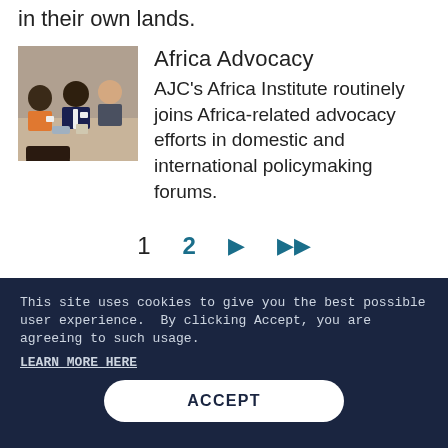in their own lands.
Africa Advocacy
[Figure (photo): People seated at a conference table, including individuals in colorful attire, viewed from behind a seated figure.]
AJC's Africa Institute routinely joins Africa-related advocacy efforts in domestic and international policymaking forums.
1  2  ▶  ▶▶
This site uses cookies to give you the best possible user experience.  By clicking Accept, you are agreeing to such usage.
LEARN MORE HERE
ACCEPT